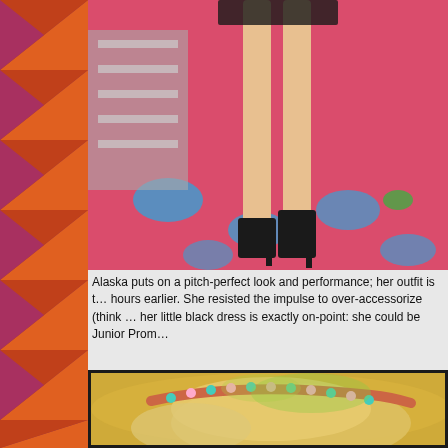[Figure (photo): Close-up of legs in heels on a colorful pink dance floor with blue circular spots, metallic staircase in background]
Alaska puts on a pitch-perfect look and performance; her outfit is t… hours earlier. She resisted the impulse to over-accessorize (think … her little black dress is exactly on-point: she could be Junior Prom…
[Figure (photo): Close-up of a person's head with blonde hair and colorful beaded/gemstone headband on golden-yellow background]